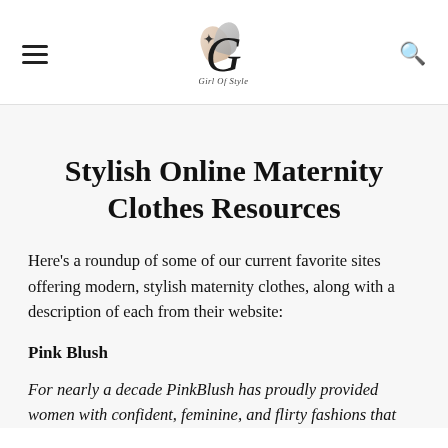Girl Of Style — navigation header with logo
Stylish Online Maternity Clothes Resources
Here's a roundup of some of our current favorite sites offering modern, stylish maternity clothes, along with a description of each from their website:
Pink Blush
For nearly a decade PinkBlush has proudly provided women with confident, feminine, and flirty fashions that